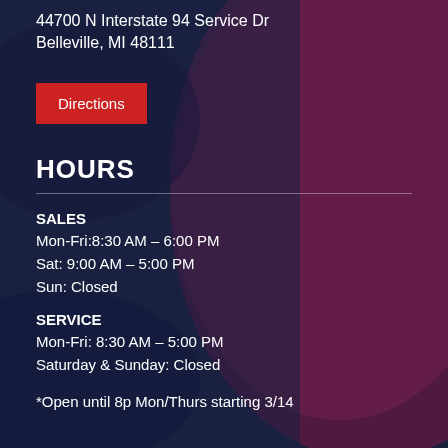44700 N Interstate 94 Service Dr
Belleville, MI 48111
Directions
HOURS
SALES
Mon-Fri:8:30 AM – 6:00 PM
Sat: 9:00 AM – 5:00 PM
Sun: Closed
SERVICE
Mon-Fri: 8:30 AM – 5:00 PM
Saturday & Sunday: Closed
*Open until 8p Mon/Thurs starting 3/14